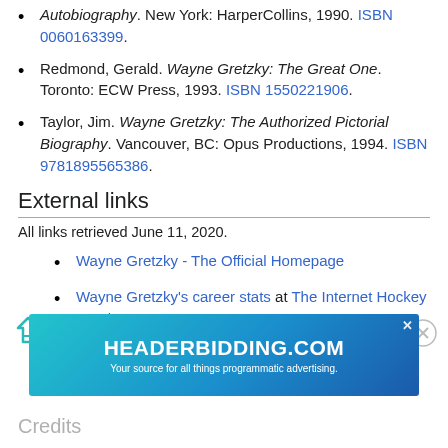Autobiography. New York: HarperCollins, 1990. ISBN 0060163399.
Redmond, Gerald. Wayne Gretzky: The Great One. Toronto: ECW Press, 1993. ISBN 1550221906.
Taylor, Jim. Wayne Gretzky: The Authorized Pictorial Biography. Vancouver, BC: Opus Productions, 1994. ISBN 9781895565386.
External links
All links retrieved June 11, 2020.
Wayne Gretzky - The Official Homepage
Wayne Gretzky's career stats at The Internet Hockey Database
[Figure (screenshot): HEADERBIDDING.COM advertisement banner — Your source for all things programmatic advertising.]
Credits